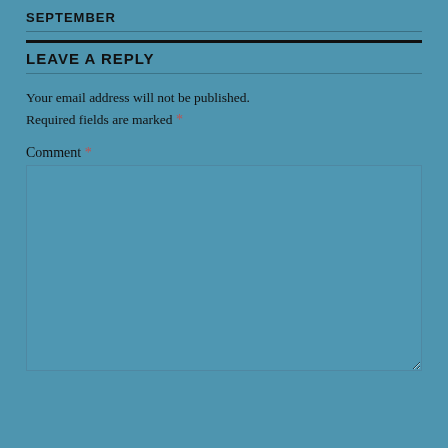SEPTEMBER
LEAVE A REPLY
Your email address will not be published. Required fields are marked *
Comment *